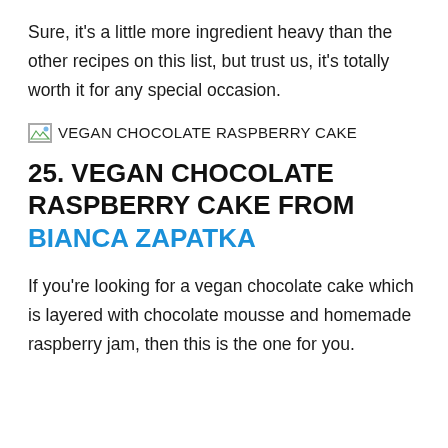Sure, it's a little more ingredient heavy than the other recipes on this list, but trust us, it's totally worth it for any special occasion.
[Figure (other): Broken image placeholder with alt text: VEGAN CHOCOLATE RASPBERRY CAKE]
25. VEGAN CHOCOLATE RASPBERRY CAKE FROM BIANCA ZAPATKA
If you're looking for a vegan chocolate cake which is layered with chocolate mousse and homemade raspberry jam, then this is the one for you.